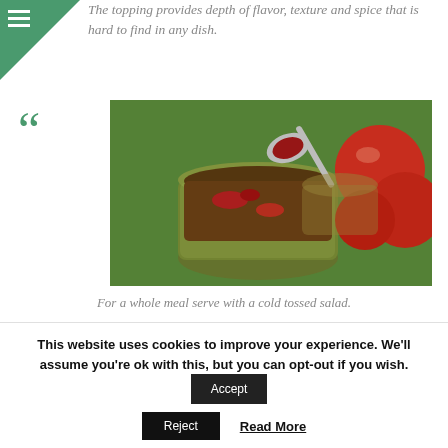The topping provides depth of flavor, texture and spice that is hard to find in any dish.
[Figure (photo): A glass jar of dark red/green chutney or jam with a spoon lifting some out, with red tomatoes blurred in the background, on a green surface.]
For a whole meal serve with a cold tossed salad.
This recipe is an original Fat Farm creation. Let me know
This website uses cookies to improve your experience. We'll assume you're ok with this, but you can opt-out if you wish.